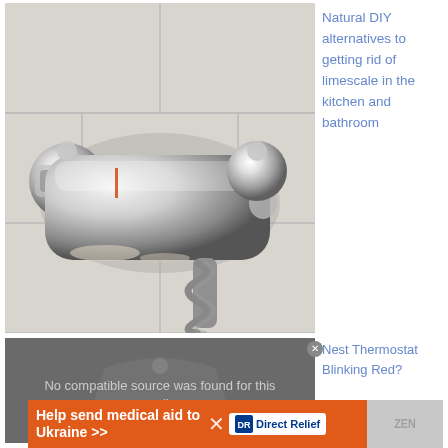[Figure (photo): Chrome thermostatic shower mixer valve mounted on white tiled wall with flexible hose hanging below]
Natural DIY alternatives to getting rid of limescale in the kitchen and bathroom
[Figure (screenshot): Video player showing 'No compatible source was found for this media.' message on dark grey background]
Nest Thermostat Blinking Red?
[Figure (infographic): Direct Relief advertisement banner: Help send medical aid to Ukraine >> with Direct Relief logo and orange background]